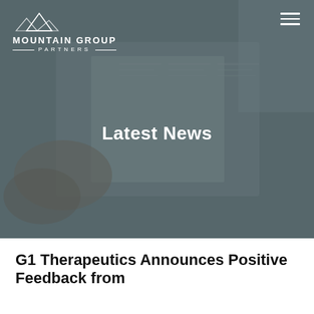[Figure (photo): Background photo of a person reading a newspaper, overlaid with dark semi-transparent filter]
MOUNTAIN GROUP PARTNERS
Latest News
G1 Therapeutics Announces Positive Feedback from